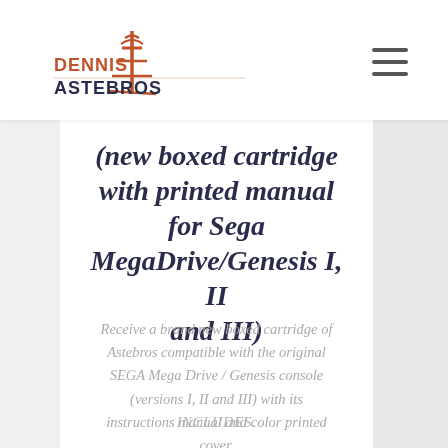Dennis-Astebros logo and navigation
(new boxed cartridge with printed manual for Sega MegaDrive/Genesis I, II and III)
Receive a brand new boxed cartridge of Astebros compatible with the original SEGA Mega Drive / Genesis console (versions I, II and III) with its instructions manual and color printed cover.
INCLUDES.